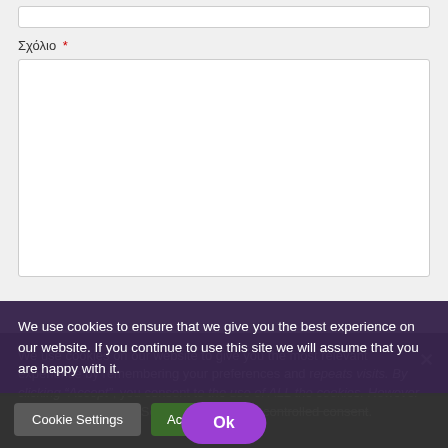Σχόλιο *
We use cookies on our website to give you the most relevant experience by remembering your preferences and repeat visits. By clicking "Accept", you consent to the use of ALL the cookies. However you may visit Cookie Settings to provide a controlled consent.
We use cookies to ensure that we give you the best experience on our website. If you continue to use this site we will assume that you are happy with it.
Cookie Settings
Accept
Ok